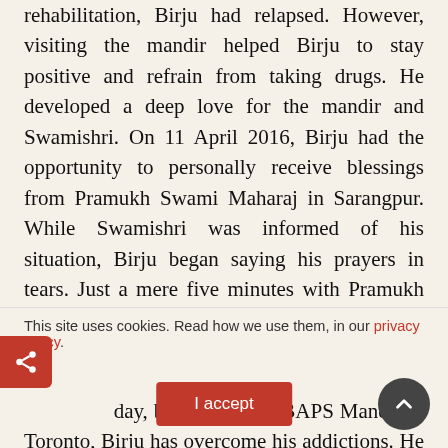rehabilitation, Birju had relapsed. However, visiting the mandir helped Birju to stay positive and refrain from taking drugs. He developed a deep love for the mandir and Swamishri. On 11 April 2016, Birju had the opportunity to personally receive blessings from Pramukh Swami Maharaj in Sarangpur. While Swamishri was informed of his situation, Birju began saying his prayers in tears. Just a mere five minutes with Pramukh Swami Maharaj brought new hope in Birju's life.
day, because of the BAPS Mandir in Toronto, Birju has overcome his addictions. He has restored his broken relationships. He has also become an
This site uses cookies. Read how we use them, in our privacy policy.